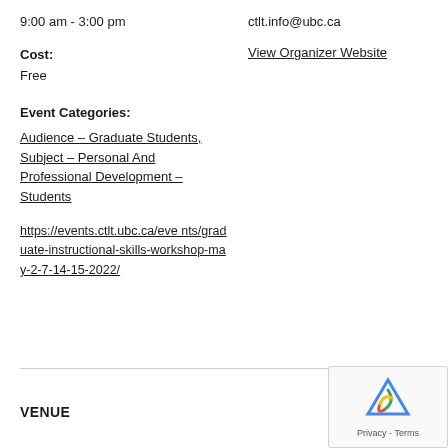9:00 am - 3:00 pm
ctlt.info@ubc.ca
Cost:
View Organizer Website
Free
Event Categories:
Audience – Graduate Students, Subject – Personal And Professional Development – Students
https://events.ctlt.ubc.ca/events/graduate-instructional-skills-workshop-may-2-7-14-15-2022/
VENUE